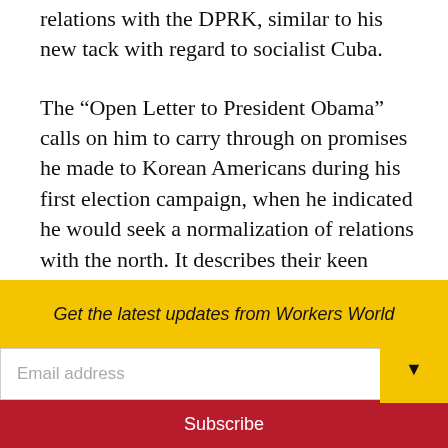relations with the DPRK, similar to his new tack with regard to socialist Cuba.
The “Open Letter to President Obama” calls on him to carry through on promises he made to Korean Americans during his first election campaign, when he indicated he would seek a normalization of relations with the north. It describes their keen “disappointment” that instead Obama has tied his stance on Korea to his so-called Asia Pivot Policy, aimed at China.
“In terms of your policy toward North
Get the latest updates from Workers World
Email address
Subscribe